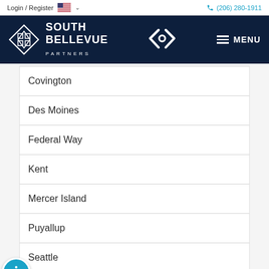Login / Register   (206) 280-1911
[Figure (logo): South Bellevue Partners logo with navigation bar on dark navy background, includes center diamond chevron icon and MENU button]
Covington
Des Moines
Federal Way
Kent
Mercer Island
Puyallup
Seattle